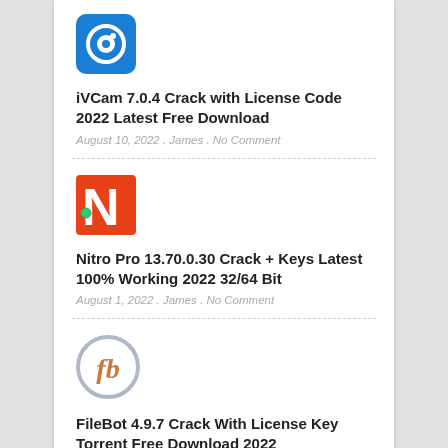[Figure (logo): iVCam app icon — blue square with white circle/eye symbol]
iVCam 7.0.4 Crack with License Code 2022 Latest Free Download
August 10, 2022 . James . No Comment
[Figure (logo): Nitro Pro app icon — red/orange square with white stylized N letter]
Nitro Pro 13.70.0.30 Crack + Keys Latest 100% Working 2022 32/64 Bit
August 1, 2022 . James . No Comment
[Figure (logo): FileBot app icon — circular grey ring with italic 'fb' text in orange]
FileBot 4.9.7 Crack With License Key Torrent Free Download 2022